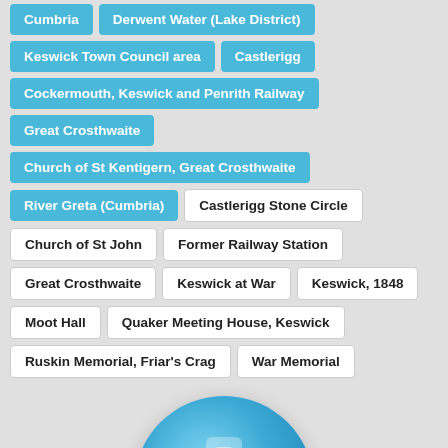Cumbria
Derwent Water (Lake District)
Keswick Town Council area
Castlerigg
Cockermouth, Keswick and Penrith Railway
Great Crosthwaite
Church of St Kentigern, Great Crosthwaite
River Greta (Cumbria)
Castlerigg Stone Circle
Church of St John
Former Railway Station
Great Crosthwaite
Keswick at War
Keswick, 1848
Moot Hall
Quaker Meeting House, Keswick
Ruskin Memorial, Friar's Crag
War Memorial
[Figure (illustration): A round blue JOIN IN button with text 'Write, Discuss,' underneath]